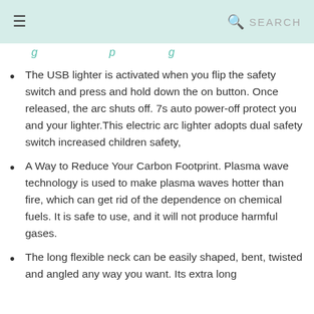SEARCH
(truncated italic header text)
The USB lighter is activated when you flip the safety switch and press and hold down the on button. Once released, the arc shuts off. 7s auto power-off protect you and your lighter.This electric arc lighter adopts dual safety switch increased children safety,
A Way to Reduce Your Carbon Footprint. Plasma wave technology is used to make plasma waves hotter than fire, which can get rid of the dependence on chemical fuels. It is safe to use, and it will not produce harmful gases.
The long flexible neck can be easily shaped, bent, twisted and angled any way you want. Its extra long